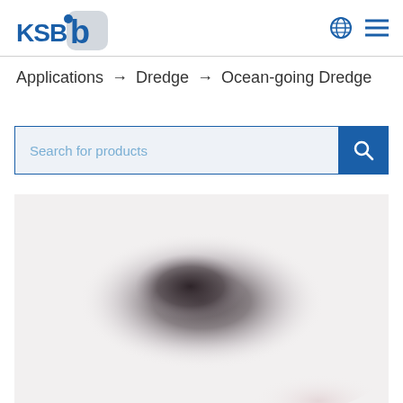KSB logo with globe and menu icons
Applications → Dredge → Ocean-going Dredge
[Figure (screenshot): Search bar with placeholder text 'Search for products' and a blue search button with magnifying glass icon]
[Figure (photo): Blurred photograph showing dark industrial equipment (dredge pump) against a light background]